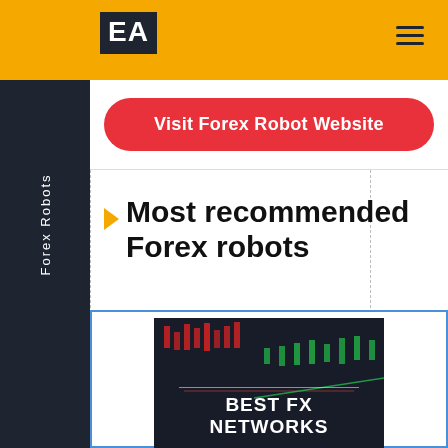EA
Visit Forex Robot Website
Forex Robots
Most recommended Forex robots
[Figure (screenshot): Dark forex trading chart background with text overlay reading BEST FX NETWORKS in white bold text]